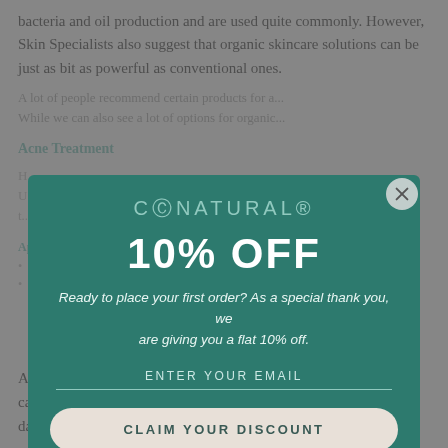bacteria and oil production and are used quite commonly. However, Skin Specialists also suggest that organic skincare solutions can be just as bit as powerful as conventional ones.
[Figure (screenshot): CoNatural brand popup modal on a skincare article page offering 10% OFF discount. The modal has a teal/dark green background with the CoNatural logo, a large '10% OFF' heading, promotional text, an email input field, and a 'CLAIM YOUR DISCOUNT' button. Powered by omnisend shown at bottom.]
Add 1-2 drops of the Tea Tree Essential Oil on a cotton swab (you can even dip the swab in water before adding tea tree oil) Directly dab it on the acne (don't rub it) and leave it overnight.